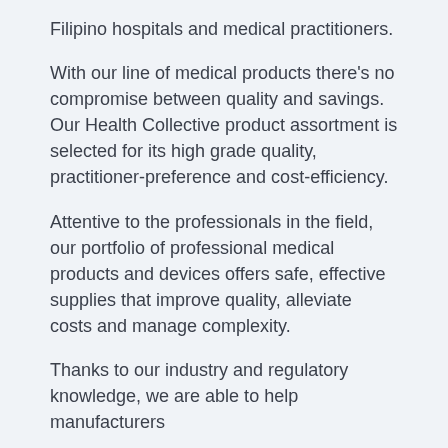Filipino hospitals and medical practitioners.
With our line of medical products there's no compromise between quality and savings. Our Health Collective product assortment is selected for its high grade quality, practitioner-preference and cost-efficiency.
Attentive to the professionals in the field, our portfolio of professional medical products and devices offers safe, effective supplies that improve quality, alleviate costs and manage complexity.
Thanks to our industry and regulatory knowledge, we are able to help manufacturers